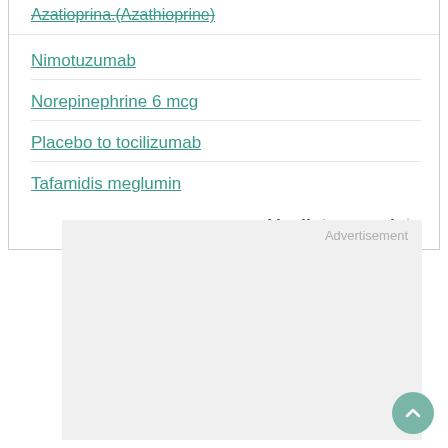Azatioprina (azathioprine)
Nimotuzumab
Norepinephrine 6 mcg
Placebo to tocilizumab
Tafamidis meglumin
Ver lista completa
[Figure (other): Advertisement placeholder box with light grey background]